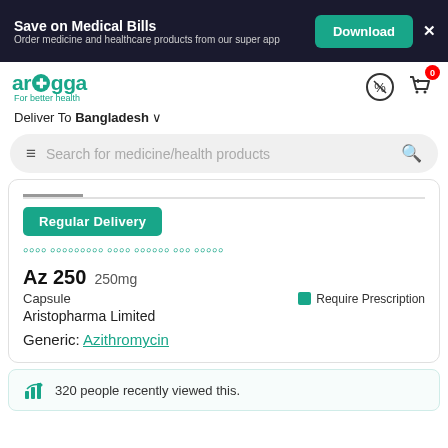Save on Medical Bills
Order medicine and healthcare products from our super app
Download
[Figure (logo): Arogga logo with red cross icon and tagline 'For better health']
Deliver To Bangladesh
Search for medicine/health products
Regular Delivery
Bangla text (delivery info)
Az 250  250mg
Capsule
Require Prescription
Aristopharma Limited
Generic: Azithromycin
320 people recently viewed this.